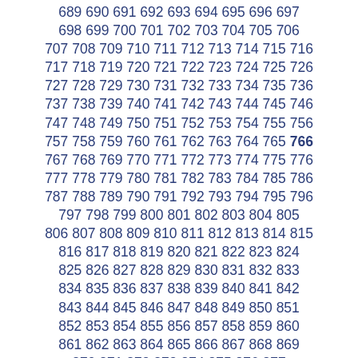689 690 691 692 693 694 695 696 697 698 699 700 701 702 703 704 705 706 707 708 709 710 711 712 713 714 715 716 717 718 719 720 721 722 723 724 725 726 727 728 729 730 731 732 733 734 735 736 737 738 739 740 741 742 743 744 745 746 747 748 749 750 751 752 753 754 755 756 757 758 759 760 761 762 763 764 765 766 767 768 769 770 771 772 773 774 775 776 777 778 779 780 781 782 783 784 785 786 787 788 789 790 791 792 793 794 795 796 797 798 799 800 801 802 803 804 805 806 807 808 809 810 811 812 813 814 815 816 817 818 819 820 821 822 823 824 825 826 827 828 829 830 831 832 833 834 835 836 837 838 839 840 841 842 843 844 845 846 847 848 849 850 851 852 853 854 855 856 857 858 859 860 861 862 863 864 865 866 867 868 869 870 871 872 873 874 875 876 877